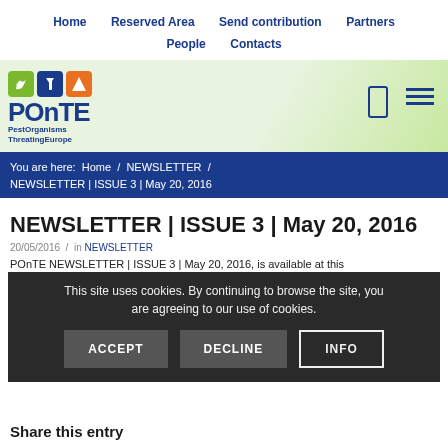Home   Reserved Area   Send contribution   Partners   People   Contacts
[Figure (logo): POnTE - Pest Organisms Threatening Europe logo with green, blue, and orange icons]
You are here: Home / NEWSLETTER / NEWSLETTER | ISSUE 3 | May 20, 2016
NEWSLETTER | ISSUE 3 | May 20, 2016
20/05/2016  /  in NEWSLETTER
POnTE NEWSLETTER | ISSUE 3 | May 20, 2016, is available at this link.
Tags: Newsletter
This site uses cookies. By continuing to browse the site, you are agreeing to our use of cookies.
ACCEPT   DECLINE   INFO
Share this entry